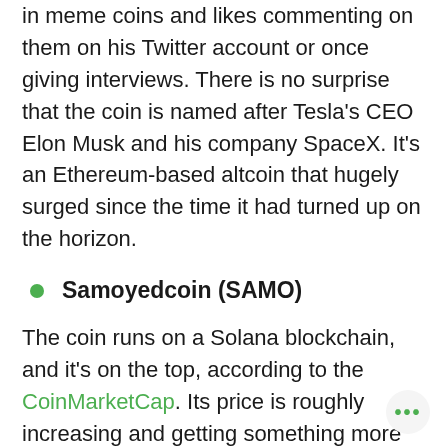in meme coins and likes commenting on them on his Twitter account or once giving interviews. There is no surprise that the coin is named after Tesla's CEO Elon Musk and his company SpaceX. It's an Ethereum-based altcoin that hugely surged since the time it had turned up on the horizon.
Samoyedcoin (SAMO)
The coin runs on a Solana blockchain, and it's on the top, according to the CoinMarketCap. Its price is roughly increasing and getting something more than just another meme coin thanks to an extensive supporting community, burning events, and airdrop tools.